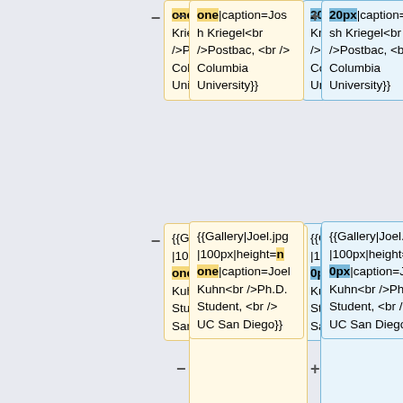one|caption=Josh Kriegel<br />Postbac, <br /> Columbia University}}
20px|caption=Josh Kriegel<br />Postbac, <br /> Columbia University}}
{{Gallery|Joel.jpg|100px|height=none|caption=Joel Kuhn<br />Ph.D. Student, <br /> UC San Diego}}
{{Gallery|Joel.jpg|100px|height=120px|caption=Joel Kuhn<br />Ph.D. Student, <br /> UC San Diego}}
{{Gallery|Person-placeholder.png|100px|height=none|caption=Richard Lawrence <br /> Ph.D. Student, <br /> U.C. Berkley}}
{{Gallery|Person-placeholder.png|100px|height=120px|caption=Richard Lawrence <br /> Ph.D. Student, <br /> U.C. Berkley}}
{{Gallery|Kenton.jpg|100px|height
{{Gallery|Kenton.jpg|100px|height